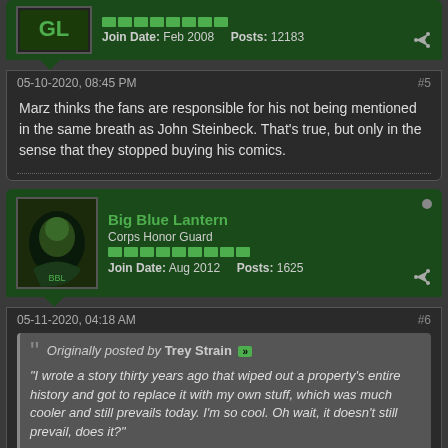[Figure (screenshot): Top of user card with avatar, rep bar, Join Date Feb 2008, Posts 12183]
Join Date: Feb 2008   Posts: 12183
05-10-2020, 08:45 PM  #5
Marz thinks the fans are responsible for his not being mentioned in the same breath as John Steinbeck. That's true, but only in the sense that they stopped buying his comics.
Big Blue Lantern
Corps Honor Guard
Join Date: Aug 2012   Posts: 1625
05-11-2020, 04:18 AM  #6
Originally posted by Trey Strain  "I wrote a story thirty years ago that wiped out a property's entire history and got to replace it with my own stuff, which was much cooler and still prevails today. I'm so cool. Oh wait, it doesn't still prevail, does it?"  As Bruce Springsteen might say, you've got nothing left mister, but boring stories of glory days.